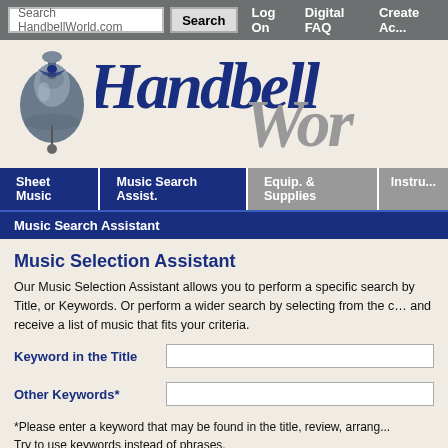Search HandbellWorld.com | Search | Log On | Digital FAQ | Create Account
[Figure (logo): HandbellWorld.com logo with a handbell image on the left and stylized script text 'HandbellWorld' in blue and gray]
Sheet Music | Music Search Assist. | Equip. & Supplies | Instru...
Music Search Assistant
Music Selection Assistant
Our Music Selection Assistant allows you to perform a specific search by Title, or Keywords. Or perform a wider search by selecting from the categories and receive a list of music that fits your criteria.
Keyword in the Title
Other Keywords*
*Please enter a keyword that may be found in the title, review, arrang... Try to use keywords instead of phrases.